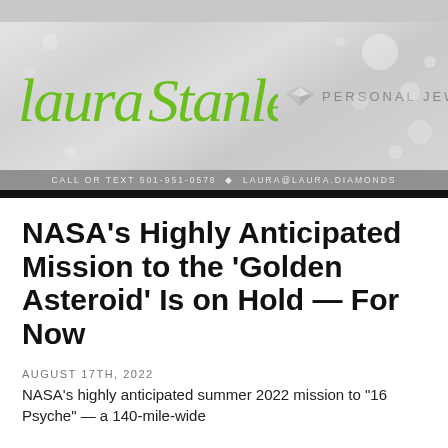[Figure (logo): Laura Stanley Personal Jeweler banner logo with decorative script text in green and diamond icon, on a gray bokeh background]
CALL OR TEXT 501-951-0578 ◆ LAURA@LAURA.DIAMONDS
NASA's Highly Anticipated Mission to the 'Golden Asteroid' Is on Hold — For Now
AUGUST 17TH, 2022
NASA's highly anticipated summer 2022 mission to "16 Psyche" — a 140-mile-wide